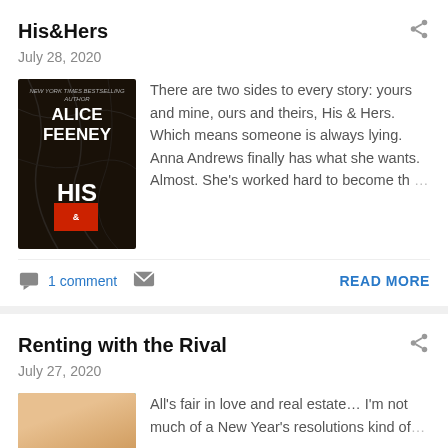His&Hers
July 28, 2020
[Figure (illustration): Book cover: Alice Feeney His & Hers, dark background with vines]
There are two sides to every story: yours and mine, ours and theirs, His & Hers. Which means someone is always lying. Anna Andrews finally has what she wants. Almost. She's worked hard to become th…
1 comment
READ MORE
Renting with the Rival
July 27, 2020
[Figure (illustration): Book cover: Renting with the Rival, teal background with torso]
All's fair in love and real estate… I'm not much of a New Year's resolutions kind of…